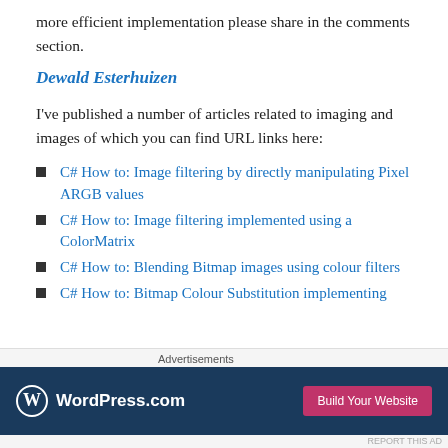more efficient implementation please share in the comments section.
Dewald Esterhuizen
I've published a number of articles related to imaging and images of which you can find URL links here:
C# How to: Image filtering by directly manipulating Pixel ARGB values
C# How to: Image filtering implemented using a ColorMatrix
C# How to: Blending Bitmap images using colour filters
C# How to: Bitmap Colour Substitution implementing
[Figure (other): WordPress.com advertisement banner with logo and 'Build Your Website' button]